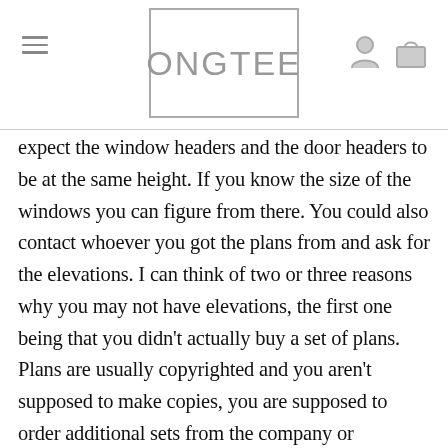ONGTEE
expect the window headers and the door headers to be at the same height. If you know the size of the windows you can figure from there. You could also contact whoever you got the plans from and ask for the elevations. I can think of two or three reasons why you may not have elevations, the first one being that you didn't actually buy a set of plans. Plans are usually copyrighted and you aren't supposed to make copies, you are supposed to order additional sets from the company or architect. That copyright also includes the use of those plans, when you buy the plans you are buying the right to use that design. Normally when you buy house plans you get three or four sets but can buy additional copies.